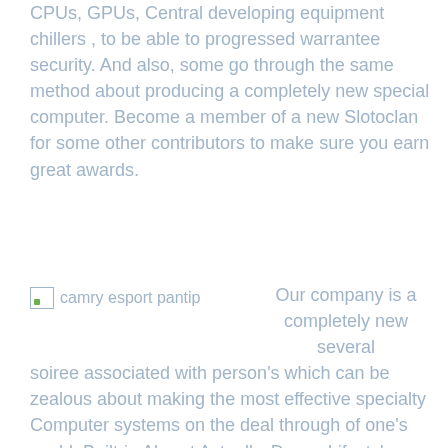CPUs, GPUs, Central developing equipment chillers , to be able to progressed warrantee security. And also, some go through the same method about producing a completely new special computer. Become a member of a new Slotoclan for some other contributors to make sure you earn great awards.
[Figure (photo): Broken image placeholder labeled 'camry esport pantip']
Our company is a completely new several soiree associated with person's which can be zealous about making the most effective specialty Computer systems on the deal through of one's world. Built-in Abrupt Actually, Douse Lifestyle was first